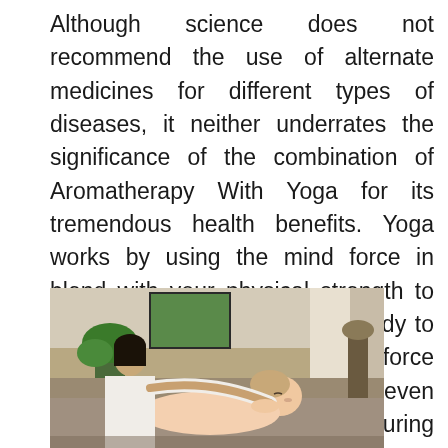Although science does not recommend the use of alternate medicines for different types of diseases, it neither underrates the significance of the combination of Aromatherapy With Yoga for its tremendous health benefits. Yoga works by using the mind force in blend with your physical strength to adjust the flow of life in your body to bring equilibrium. Our life force basically passes through the seven chakras, which are cleansed during yoga, relieving your body from stress and other diseases.
[Figure (photo): A massage therapist performing a massage on a client who is lying down with eyes closed. The therapist, an Asian woman wearing a white uniform, is stretching the client's arm. The setting appears to be a spa with plants and curtains visible in the background.]